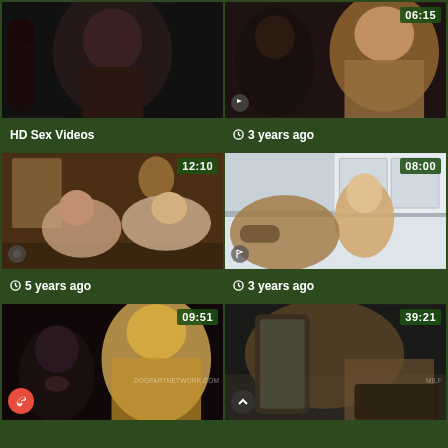[Figure (screenshot): Video thumbnail grid showing adult content website with 6 video thumbnails arranged in a 2x3 grid. Each thumbnail shows video duration badge and metadata including upload time. Labels: HD Sex Videos, 3 years ago, 5 years ago, 3 years ago, and two bottom row thumbnails with durations 09:51 and 39:21.]
HD Sex Videos
3 years ago
5 years ago
3 years ago